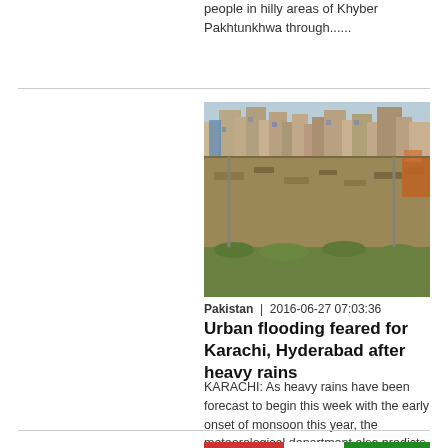people in hilly areas of Khyber Pakhtunkhwa through......
[Figure (photo): Aerial/ground-level view of a dry rocky riverbed or nullah running through a dense urban settlement with concrete block buildings on either side, Karachi or Hyderabad Pakistan]
Pakistan  |  2016-06-27 07:03:36
Urban flooding feared for Karachi, Hyderabad after heavy rains
KARACHI: As heavy rains have been forecast to begin this week with the early onset of monsoon this year, the meteorological department also predicts ‘urban flooding’ in Karachi and Hyderabad in the......
[Figure (photo): Partial view of a political poster or banner with Urdu text and a person's image visible at the bottom of the page]